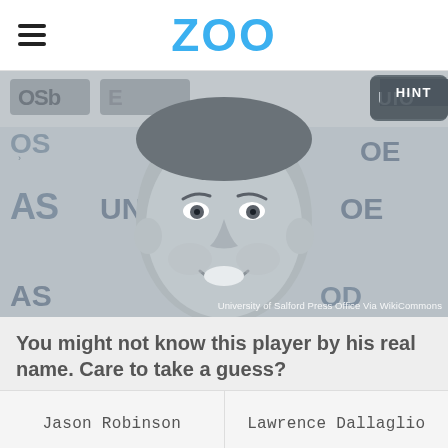ZOO
[Figure (photo): Grayscale photo of a smiling male rugby player at a press conference with sponsor logos visible in the background. Credit: University of Salford Press Office via WikiCommons]
You might not know this player by his real name. Care to take a guess?
Jason Robinson
Lawrence Dallaglio